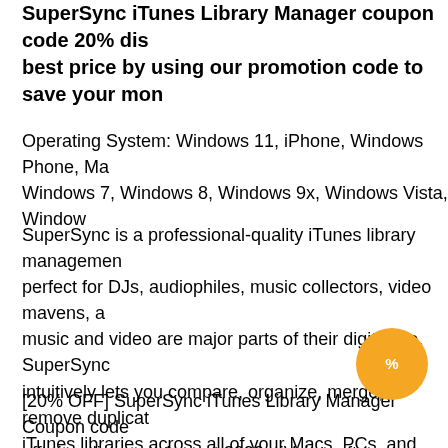SuperSync iTunes Library Manager coupon code 20% disc... best price by using our promotion code to save your mon...
Operating System: Windows 11, iPhone, Windows Phone, Ma... Windows 7, Windows 8, Windows 9x, Windows Vista, Window...
SuperSync is a professional-quality iTunes library managemen... perfect for DJs, audiophiles, music collectors, video mavens, a... music and video are major parts of their digital life. SuperSync... intuitively lets you compare, organize, merge, remove duplicat... iTunes libraries across all of your Macs, PCs, and NAS device... fast, easy and intuitive.The 2-pak license allows users to insta... on 2 different computers (Mac and/or PC). Get the latest versio... and NAS from the offical SuperSync web site: http://supersync...
[20% OFF] SuperSync iTunes Library Manager Coupon code ... offering discount, August 2022 - iVoicesoft